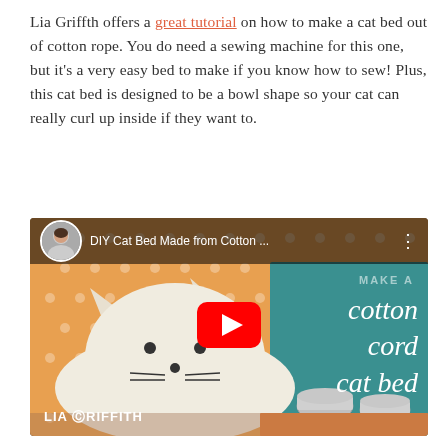Lia Griffth offers a great tutorial on how to make a cat bed out of cotton rope. You do need a sewing machine for this one, but it's a very easy bed to make if you know how to sew! Plus, this cat bed is designed to be a bowl shape so your cat can really curl up inside if they want to.
[Figure (screenshot): YouTube video thumbnail for 'DIY Cat Bed Made from Cotton Cord' by Lia Griffith. Shows a white cotton rope cat bed shaped like a cat face, with silver bowls beside it on an orange polka-dot mat. Right side has teal background with italic text 'cotton cord cat bed'. Red YouTube play button in center. Lia Griffith logo at bottom left.]